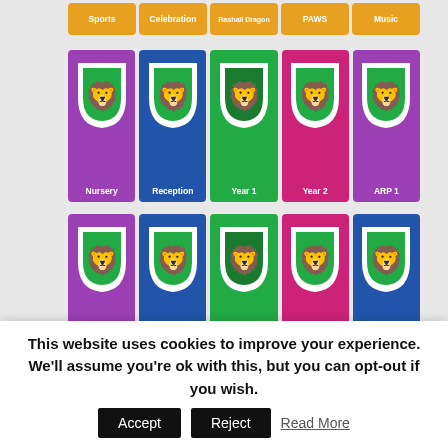[Figure (other): Top row of colored category buttons: Sports (orange), Celebration (orange), Rashall Dragon (orange), PAWS (orange), Music (orange)]
[Figure (other): Row of school year group shield icons: Nursery (purple), Reception (blue), Year 1 (green), Year 2 (pink), ARP 1 (purple)]
[Figure (other): Row of school year group shield icons: Year 3 (purple), Year 4 (blue), Year 5 (green), Year 6 (pink), ARP 2 (blue)]
Search
This website uses cookies to improve your experience. We'll assume you're ok with this, but you can opt-out if you wish. Accept Reject Read More